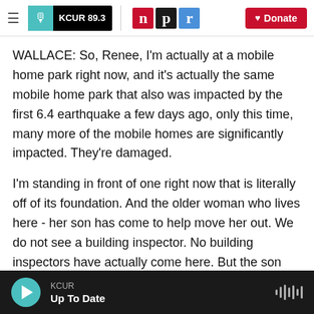KCUR 89.3 | npr | Donate
WALLACE: So, Renee, I'm actually at a mobile home park right now, and it's actually the same mobile home park that also was impacted by the first 6.4 earthquake a few days ago, only this time, many more of the mobile homes are significantly impacted. They're damaged.
I'm standing in front of one right now that is literally off of its foundation. And the older woman who lives here - her son has come to help move her out. We do not see a building inspector. No building inspectors have actually come here. But the son and the woman clearly feel that it's too dangerous
KCUR | Up To Date